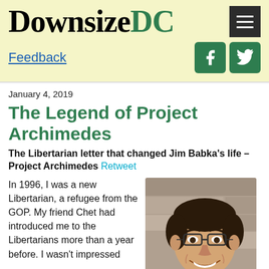Downsize DC
Feedback
January 4, 2019
The Legend of Project Archimedes
The Libertarian letter that changed Jim Babka’s life – Project Archimedes Retweet
In 1996, I was a new Libertarian, a refugee from the GOP. My friend Chet had introduced me to the Libertarians more than a year before. I wasn’t impressed
[Figure (photo): Headshot of a smiling man with dark hair and glasses, wearing a dark jacket, photographed against a stone wall background.]